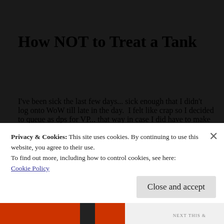How NOT to Treat a Tank
I've been sick the last few days... sick enough that I didn't log onto WoW till late in the day.  I felt like crap so I decided to queue as dps for VP... that way in case I did have to make a sudden exit/afk I'd be less of a hindrance to the group or could easily leave and not cause a
Privacy & Cookies: This site uses cookies. By continuing to use this website, you agree to their use.
To find out more, including how to control cookies, see here: Cookie Policy
Close and accept